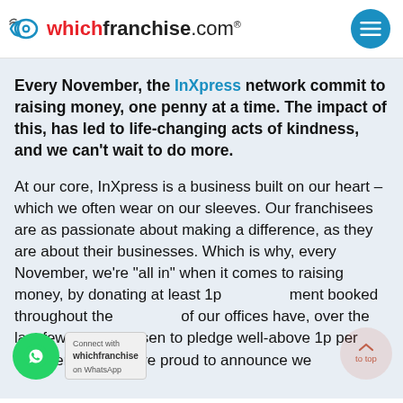whichfranchise.com®
Every November, the InXpress network commit to raising money, one penny at a time. The impact of this, has led to life-changing acts of kindness, and we can't wait to do more.
At our core, InXpress is a business built on our heart – which we often wear on our sleeves. Our franchisees are as passionate about making a difference, as they are about their businesses. Which is why, every November, we're "all in" when it comes to raising money, by donating at least 1p ment booked throughout the of our offices have, over the last few years, chosen to pledge well-above 1p per shipment. And, we're proud to announce we